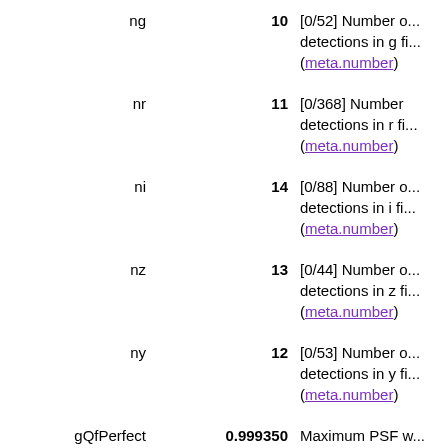| Name | Value | Description |
| --- | --- | --- |
| ng | 10 | [0/52] Number of detections in g fi... (meta.number) |
| nr | 11 | [0/368] Number of detections in r fi... (meta.number) |
| ni | 14 | [0/88] Number of detections in i fi... (meta.number) |
| nz | 13 | [0/44] Number of detections in z fi... (meta.number) |
| ny | 12 | [0/53] Number of detections in y fi... (meta.number) |
| gQfPerfect | 0.999350 | Maximum PSF-weighted fraction of pixels unmasked from s... detections (gQfP... (instr.det.psf) |
| gMeanPSFMag | 21.2300 mag | (i) [-33/33] Mean magnitude from... detections (gMea... (phot.mag;em.o... |